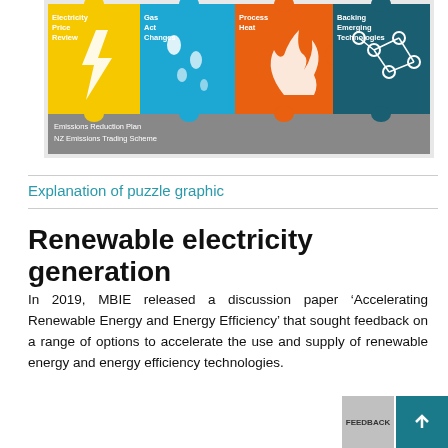[Figure (infographic): Puzzle graphic infographic showing colored puzzle pieces labeled: Electricity Price Review (yellow), Gas Act Changes (teal/blue), Process Heat (orange), Backing Emerging Technologies (dark teal). Bottom gray bar reads: Emissions Reduction Plan, NZ Emissions Trading Scheme.]
Explanation of puzzle graphic
Renewable electricity generation
In 2019, MBIE released a discussion paper ‘Accelerating Renewable Energy and Energy Efficiency’ that sought feedback on a range of options to accelerate the use and supply of renewable energy and energy efficiency technologies.